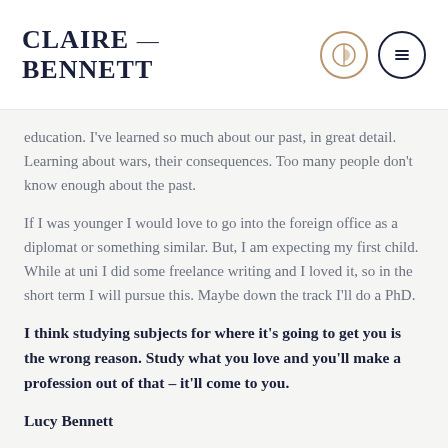CLAIRE — BENNETT
education. I've learned so much about our past, in great detail. Learning about wars, their consequences. Too many people don't know enough about the past.
If I was younger I would love to go into the foreign office as a diplomat or something similar. But, I am expecting my first child. While at uni I did some freelance writing and I loved it, so in the short term I will pursue this. Maybe down the track I'll do a PhD.
I think studying subjects for where it's going to get you is the wrong reason. Study what you love and you'll make a profession out of that – it'll come to you.
Lucy Bennett
Bachelor of Arts majoring in history and international